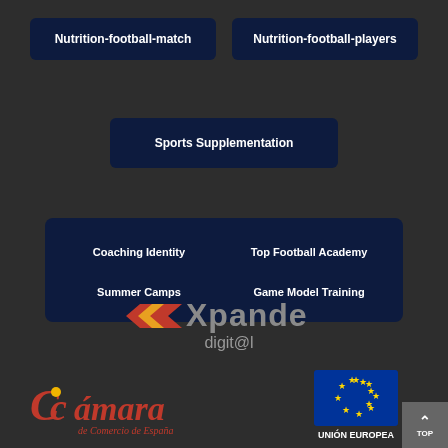Nutrition-football-match
Nutrition-football-players
Sports Supplementation
Coaching Identity
Top Football Academy
Summer Camps
Game Model Training
[Figure (logo): Xpande Digital logo with red/yellow chevron and grey text]
[Figure (logo): Camara de Comercio de España logo in red and yellow]
[Figure (logo): Union Europea EU flag logo with yellow stars on blue background and text UNION EUROPEA]